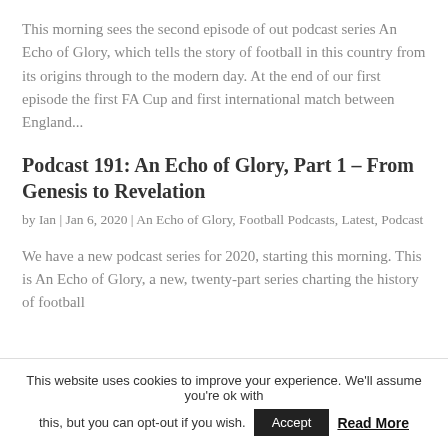This morning sees the second episode of out podcast series An Echo of Glory, which tells the story of football in this country from its origins through to the modern day. At the end of our first episode the first FA Cup and first international match between England...
Podcast 191: An Echo of Glory, Part 1 – From Genesis to Revelation
by Ian | Jan 6, 2020 | An Echo of Glory, Football Podcasts, Latest, Podcast
We have a new podcast series for 2020, starting this morning. This is An Echo of Glory, a new, twenty-part series charting the history of football
This website uses cookies to improve your experience. We'll assume you're ok with this, but you can opt-out if you wish. Accept Read More